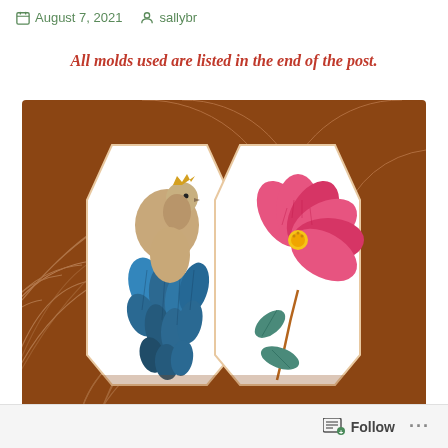August 7, 2021   sallybr
All molds used are listed in the end of the post.
[Figure (photo): Two decorated cookies on a rose gold Art Deco patterned background. The left cookie (hexagonal shape) shows a painted peacock with blue feathers and a crown. The right cookie shows a pink flower with teal leaves on a stem, both on white icing.]
Follow  ...